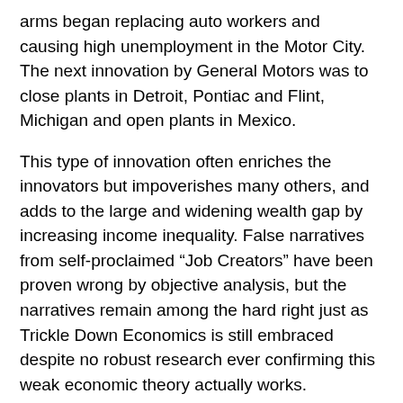arms began replacing auto workers and causing high unemployment in the Motor City. The next innovation by General Motors was to close plants in Detroit, Pontiac and Flint, Michigan and open plants in Mexico.
This type of innovation often enriches the innovators but impoverishes many others, and adds to the large and widening wealth gap by increasing income inequality. False narratives from self-proclaimed “Job Creators” have been proven wrong by objective analysis, but the narratives remain among the hard right just as Trickle Down Economics is still embraced despite no robust research ever confirming this weak economic theory actually works.
This all begs the question: What type of innovation actually creates jobs and keeps dollars circulating in the local economy?
I’m sure that Chronicle readers may come up with a few, but of those, which would actually lead to net job creation rather